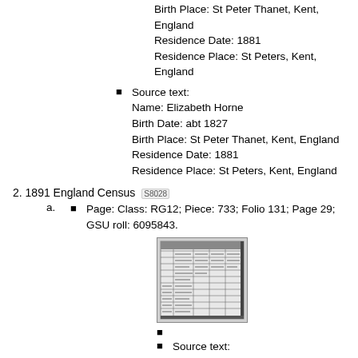Birth Place: St Peter Thanet, Kent, England
Residence Date: 1881
Residence Place: St Peters, Kent, England
Source text:
Name: Elizabeth Horne
Birth Date: abt 1827
Birth Place: St Peter Thanet, Kent, England
Residence Date: 1881
Residence Place: St Peters, Kent, England
2. 1891 England Census [S8028]
Page: Class: RG12; Piece: 733; Folio 131; Page 29; GSU roll: 6095843.
[Figure (photo): Scanned census document image, black and white, showing rows of handwritten entries in a table format]
Source text:
Name: Thomas Horne
Birth Date: abt 1821
Birth Place: Margate, Kent, England
Residence Date: 1891
Residence Place: St Peter, Kent, England
Source text:
Name: Thomas Horne
Birth Date: abt 1821
Birth Place: Margate, Kent, England
Residence Date: 1891